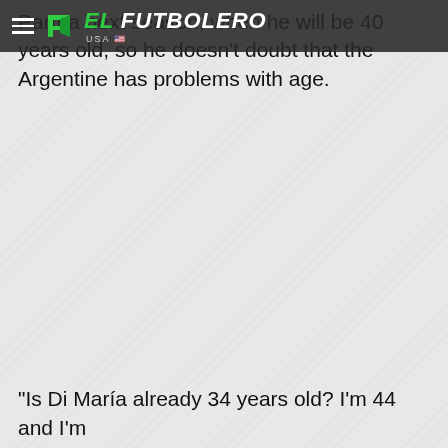EL FUTBOLERO USA
Parma next season, when he will be 40 years old, so he doesn't doubt that the Argentine has problems with age.
"Is Di María already 34 years old? I'm 44 and I'm